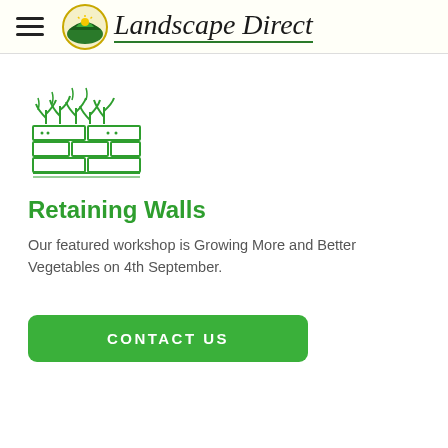Landscape Direct
[Figure (illustration): Green icon of a retaining wall with plants/grass growing over the top, drawn in outline style in green color]
Retaining Walls
Our featured workshop is Growing More and Better Vegetables on 4th September.
CONTACT US